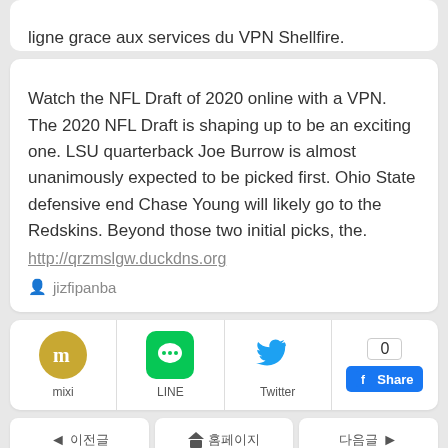ligne grace aux services du VPN Shellfire.
Watch the NFL Draft of 2020 online with a VPN. The 2020 NFL Draft is shaping up to be an exciting one. LSU quarterback Joe Burrow is almost unanimously expected to be picked first. Ohio State defensive end Chase Young will likely go to the Redskins. Beyond those two initial picks, the.
http://qrzmslgw.duckdns.org
jizfipanba
[Figure (infographic): Social sharing buttons row: mixi, LINE, Twitter, Facebook Share with count 0]
◄  이전글    홈  홈페이지    다음글  ►